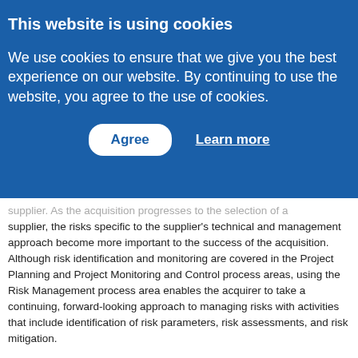This website is using cookies
We use cookies to ensure that we give you the best experience on our website. By continuing to use the website, you agree to the use of cookies.
Agree   Learn more
supplier. As the acquisition progresses to the selection of a supplier, the risks specific to the supplier's technical and management approach become more important to the success of the acquisition. Although risk identification and monitoring are covered in the Project Planning and Project Monitoring and Control process areas, using the Risk Management process area enables the acquirer to take a continuing, forward-looking approach to managing risks with activities that include identification of risk parameters, risk assessments, and risk mitigation.